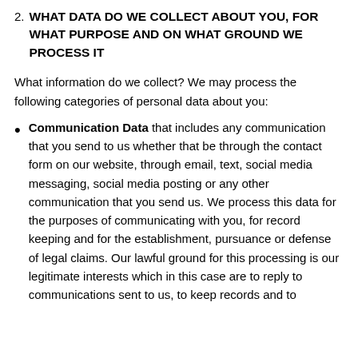2. WHAT DATA DO WE COLLECT ABOUT YOU, FOR WHAT PURPOSE AND ON WHAT GROUND WE PROCESS IT
What information do we collect? We may process the following categories of personal data about you:
Communication Data that includes any communication that you send to us whether that be through the contact form on our website, through email, text, social media messaging, social media posting or any other communication that you send us. We process this data for the purposes of communicating with you, for record keeping and for the establishment, pursuance or defense of legal claims. Our lawful ground for this processing is our legitimate interests which in this case are to reply to communications sent to us, to keep records and to